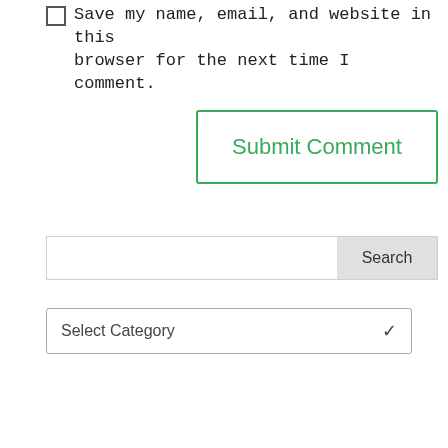Save my name, email, and website in this browser for the next time I comment.
Submit Comment
Search
Select Category